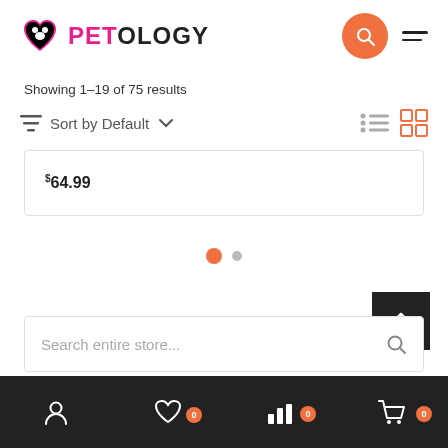[Figure (logo): Petology logo with heart/paw icon in pink/black and PETOLOGY text]
Showing 1–19 of 75 results
Sort by Default
$64.99
[Figure (infographic): Pagination dots: one active orange dot and one inactive grey dot]
[Figure (infographic): Back to top button: dark square with white upward arrow]
Search entire store...
[Figure (infographic): Bottom navigation bar with account, wishlist (0), stats, and cart (0) icons on dark background]